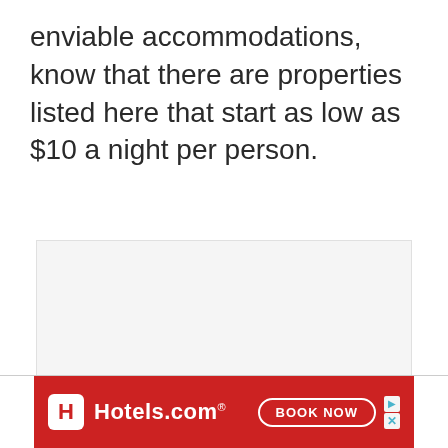enviable accommodations, know that there are properties listed here that start as low as $10 a night per person.
[Figure (other): Large light gray rectangular placeholder image area]
[Figure (other): Hotels.com advertisement banner with red background, Hotels.com logo and 'BOOK NOW' button]